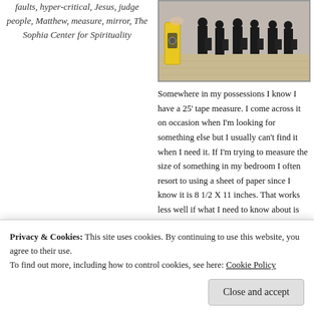faults, hyper-critical, Jesus, judge people, Matthew, measure, mirror, The Sophia Center for Spirituality
[Figure (photo): A row of people dressed in black business attire holding briefcases, standing on a wooden floor against a grey wall, with a yellow tape measure/level visible in the foreground on the left.]
Somewhere in my possessions I know I have a 25' tape measure. I come across it on occasion when I'm looking for something else but I usually can't find it when I need it. If I'm trying to measure the size of something in my bedroom I often resort to using a sheet of paper since I know it is 8 1/2 X 11 inches. That works less well if what I need to know about is very small or very large and is only exact if the space I need is exactly consonant with the size of the paper so I don't have to rely on holding my finger in the
Privacy & Cookies: This site uses cookies. By continuing to use this website, you agree to their use.
To find out more, including how to control cookies, see here: Cookie Policy
Close and accept